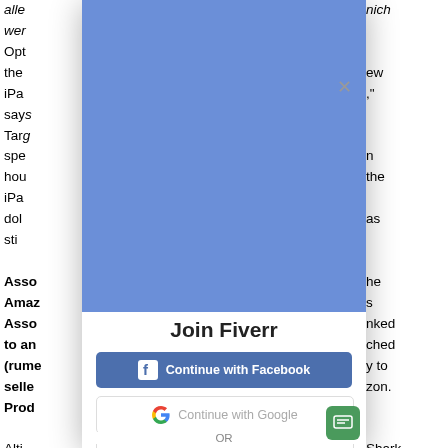alle ... nich
wer...
Opt...
the ... ew
iPa ... ,"
say...
Tar...
spe ... n
hou ... the
iPa...
dol ... as
sti...

Asso... he
Amaz ... s
Asso ... nked
to an ... ched
(rume ... y to
selle ... zon.
Prod...

Alth ... Shark

Con...
xml...
[Figure (screenshot): Fiverr 'Join Fiverr' modal dialog overlay on an article page. The modal has a blue upper section with an X close button, then a white lower section with the title 'Join Fiverr', a blue 'Continue with Facebook' button with Facebook icon, a white 'Continue with Google' button with Google logo, a white 'Continue with Apple' button with Apple logo, and an 'OR' divider text at the bottom. A green chat icon is visible in the bottom right corner of the modal.]